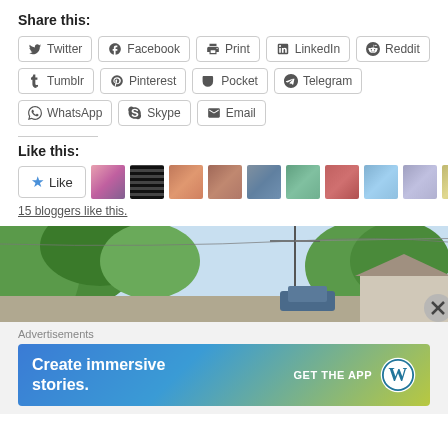Share this:
Twitter | Facebook | Print | LinkedIn | Reddit
Tumblr | Pinterest | Pocket | Telegram
WhatsApp | Skype | Email
Like this:
15 bloggers like this.
[Figure (photo): Street scene with trees and utility poles, suburban neighborhood]
Advertisements
[Figure (infographic): WordPress advertisement banner: Create immersive stories. GET THE APP with WordPress logo]